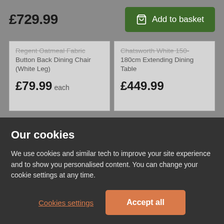£729.99
Add to basket
Regent Oatmeal Fabric Button Back Dining Chair (White Leg)
£79.99 each
Chatsworth White 150-180cm Extending Dining Table
£449.99
Our cookies
We use cookies and similar tech to improve your site experience and to show you personalised content. You can change your cookie settings at any time.
Cookies settings
Accept all